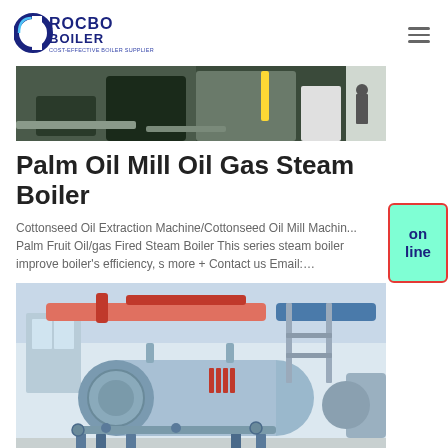ROCBO BOILER - Cost-Effective Boiler Supplier
[Figure (photo): Partial view of boiler equipment and industrial facility]
Palm Oil Mill Oil Gas Steam Boiler
Cottonseed Oil Extraction Machine/Cottonseed Oil Mill Machin... Palm Fruit Oil/gas Fired Steam Boiler This series steam boiler improve boiler's efficiency, s more + Contact us Email:…
[Figure (photo): Large blue industrial steam boiler in a clean factory setting with piping and structural supports]